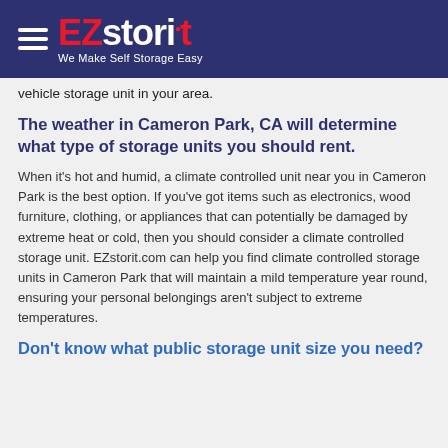EZstorit — We Make Self Storage Easy
vehicle storage unit in your area.
The weather in Cameron Park, CA will determine what type of storage units you should rent.
When it's hot and humid, a climate controlled unit near you in Cameron Park is the best option. If you've got items such as electronics, wood furniture, clothing, or appliances that can potentially be damaged by extreme heat or cold, then you should consider a climate controlled storage unit. EZstorit.com can help you find climate controlled storage units in Cameron Park that will maintain a mild temperature year round, ensuring your personal belongings aren't subject to extreme temperatures.
Don't know what public storage unit size you need?